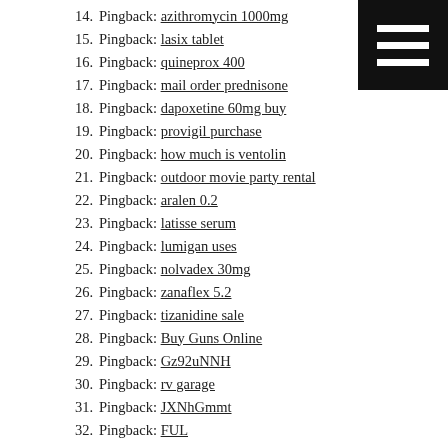14. Pingback: azithromycin 1000mg
15. Pingback: lasix tablet
16. Pingback: quineprox 400
17. Pingback: mail order prednisone
18. Pingback: dapoxetine 60mg buy
19. Pingback: provigil purchase
20. Pingback: how much is ventolin
21. Pingback: outdoor movie party rental
22. Pingback: aralen 0.2
23. Pingback: latisse serum
24. Pingback: lumigan uses
25. Pingback: nolvadex 30mg
26. Pingback: zanaflex 5.2
27. Pingback: tizanidine sale
28. Pingback: Buy Guns Online
29. Pingback: Gz92uNNH
30. Pingback: rv garage
31. Pingback: JXNhGmmt
32. Pingback: FUL
33. Pingback: sikat88
34. [avatar] start menu 8 crack says: